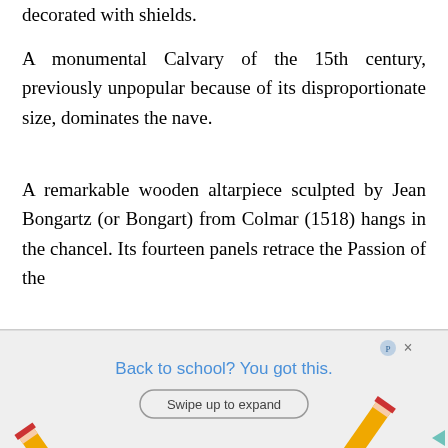decorated with shields.
A monumental Calvary of the 15th century, previously unpopular because of its disproportionate size, dominates the nave.
A remarkable wooden altarpiece sculpted by Jean Bongartz (or Bongart) from Colmar (1518) hangs in the chancel. Its fourteen panels retrace the Passion of the Christ and is crowned by Saint Christopher
[Figure (screenshot): Advertisement banner at bottom of page: 'Back to school? You got this.' with pencil images on left and right, a swipe up button, and a close button. Grey background.]